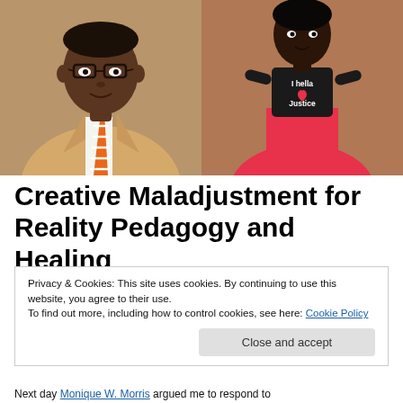[Figure (photo): Two-panel photo: left panel shows a Black man wearing glasses, a tan blazer, and an orange and white striped tie; right panel shows a Black woman wearing a black t-shirt reading 'I hella love Justice' with a red/coral flared skirt.]
Creative Maladjustment for Reality Pedagogy and Healing
Privacy & Cookies: This site uses cookies. By continuing to use this website, you agree to their use.
To find out more, including how to control cookies, see here: Cookie Policy
Next day Monique W. Morris argued me to respond to